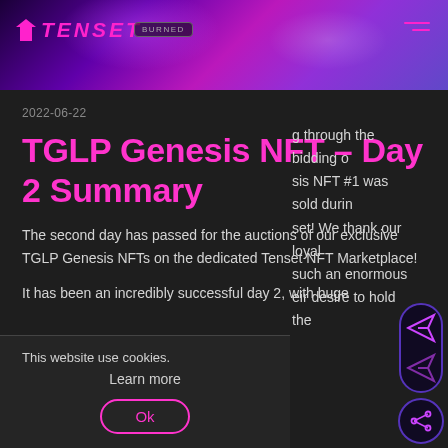[Figure (illustration): Tenset platform banner with purple/magenta gradient background, logo with pink arrow and TENSET text, a 'burned' badge, and hamburger menu icon]
2022-06-22
TGLP Genesis NFT – Day 2 Summary
The second day has passed for the auctions of our exclusive TGLP Genesis NFTs on the dedicated Tenset NFT Marketplace!
It has been an incredibly successful day 2, with huge g through the bidding o sis NFT #1 was sold durin set! We thank our loyal such an enormous eir desire to hold the
This website use cookies.
Learn more
Ok
clusive #1